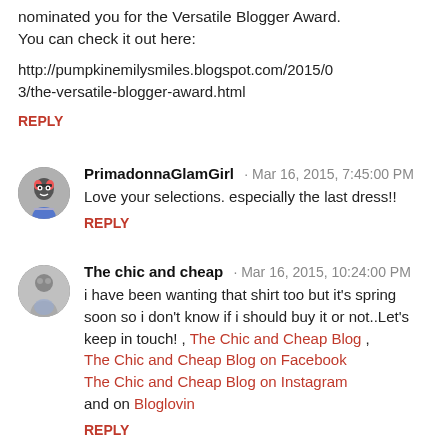nominated you for the Versatile Blogger Award. You can check it out here:
http://pumpkinemilysmiles.blogspot.com/2015/03/the-versatile-blogger-award.html
REPLY
PrimadonnaGlamGirl · Mar 16, 2015, 7:45:00 PM
Love your selections. especially the last dress!!
REPLY
The chic and cheap · Mar 16, 2015, 10:24:00 PM
i have been wanting that shirt too but it's spring soon so i don't know if i should buy it or not..Let's keep in touch! , The Chic and Cheap Blog , The Chic and Cheap Blog on Facebook The Chic and Cheap Blog on Instagram and on Bloglovin
REPLY